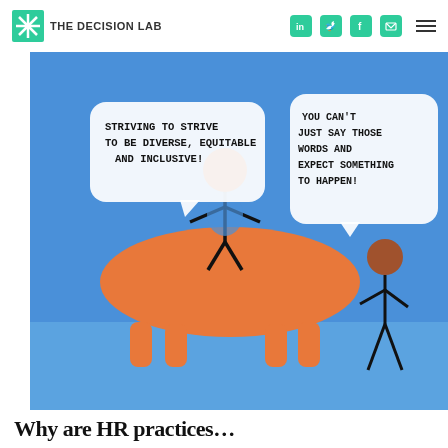THE DECISION LAB
[Figure (illustration): A cartoon illustration on a blue background showing two stick figures and a large orange hippopotamus-like animal. The left stick figure (blue, with brown head) stands on top of the orange hippo and has a speech bubble saying 'STRIVING TO STRIVE TO BE DIVERSE, EQUITABLE AND INCLUSIVE!' The right stick figure (smaller, with brown head, standing to the right of the hippo) has a speech bubble saying 'YOU CAN'T JUST SAY THOSE WORDS AND EXPECT SOMETHING TO HAPPEN!']
Why are HR practices…